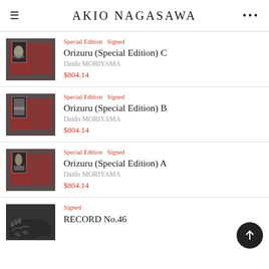AKIO NAGASAWA
[Figure (photo): Product photo of Orizuru Special Edition C book set with patterned cover]
Special Edition  Signed
Orizuru (Special Edition) C
Daido MORIYAMA
$804.14
[Figure (photo): Product photo of Orizuru Special Edition B book set with patterned cover]
Special Edition  Signed
Orizuru (Special Edition) B
Daido MORIYAMA
$804.14
[Figure (photo): Product photo of Orizuru Special Edition A book set with patterned cover]
Special Edition  Signed
Orizuru (Special Edition) A
Daido MORIYAMA
$804.14
[Figure (photo): Product photo of RECORD No.46 showing crocodile or dinosaur image in black and white]
Signed
RECORD No.46